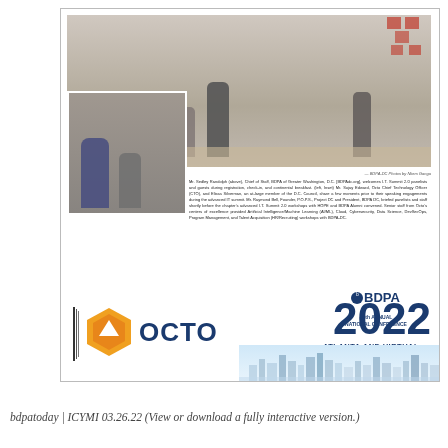[Figure (photo): Conference networking photo showing attendees at BDPA IT Summit 2.0 event in Washington D.C., with an inset photo of two attendees. Below the photo is a caption describing the event. The lower portion shows OCTO and BDPA logos with '44th Annual National Conference 2022 Atlanta and Virtual bdpa.org' text and Atlanta skyline.]
bdpatoday | ICYMI 03.26.22 (View or download a fully interactive version.)